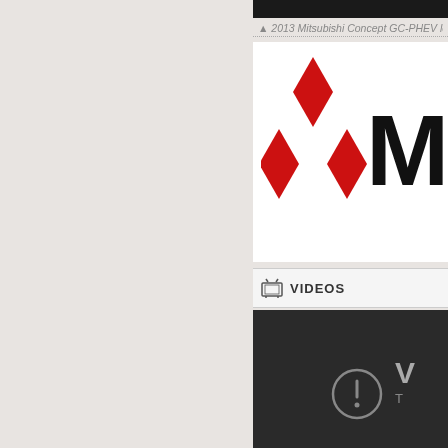▲ 2013 Mitsubishi Concept GC-PHEV lo
[Figure (logo): Mitsubishi logo with three red diamond shapes and bold black text 'MIT' partially visible]
VIDEOS
[Figure (screenshot): Dark video thumbnail with a circular error/warning icon containing an exclamation mark and partial text 'V' and 'T']